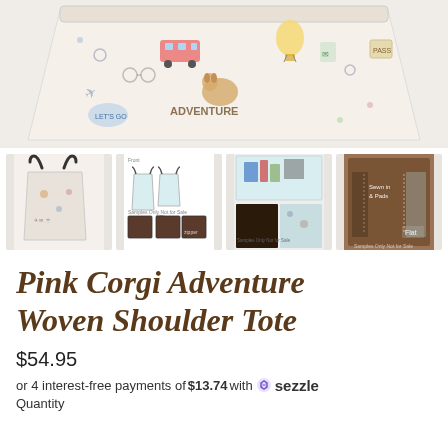[Figure (photo): Close-up view of a pink woven tote bag with corgi adventure print pattern showing bears, buses, hot air balloons, and text 'ADVENTURE']
[Figure (photo): Thumbnail row showing 4 product images of the Pink Corgi Adventure Woven Shoulder Tote bag from various angles including exterior, interior, and detail shots]
Pink Corgi Adventure Woven Shoulder Tote
$54.95
or 4 interest-free payments of $13.74 with sezzle
Quantity